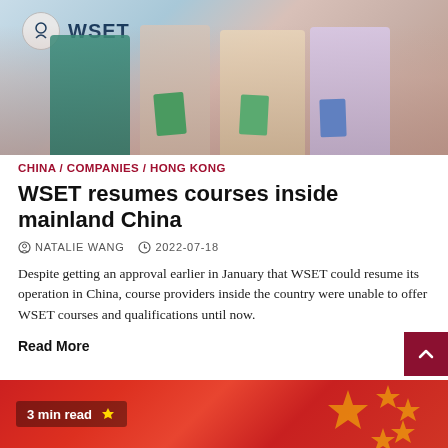[Figure (photo): Group photo of people holding books in front of WSET logo backdrop]
CHINA / COMPANIES / HONG KONG
WSET resumes courses inside mainland China
NATALIE WANG   2022-07-18
Despite getting an approval earlier in January that WSET could resume its operation in China, course providers inside the country were unable to offer WSET courses and qualifications until now.
Read More
[Figure (photo): Bottom card showing Chinese flag with 3 min read badge]